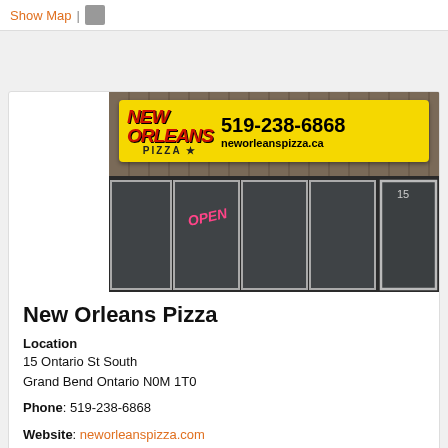Show Map |
[Figure (photo): Exterior photo of New Orleans Pizza restaurant storefront showing yellow sign with phone number 519-238-6868 and website neworleanspizza.ca]
New Orleans Pizza
Location
15 Ontario St South
Grand Bend Ontario N0M 1T0
Phone: 519-238-6868
Website: neworleanspizza.com
[Figure (logo): Delivery truck icon on dark blue/purple background]